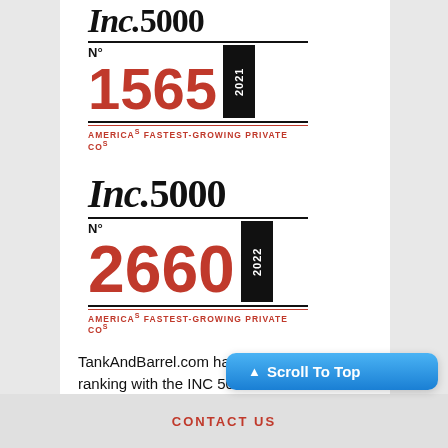[Figure (logo): Inc. 5000 badge for 2021, ranked No. 1565, America's Fastest-Growing Private Companies]
[Figure (logo): Inc. 5000 badge for 2022, ranked No. 2660, America's Fastest-Growing Private Companies]
TankAndBarrel.com has been awarded a ranking with the INC 5000 -2 Years in a row - as one of the fastest growing private companies in America!
CONTACT US